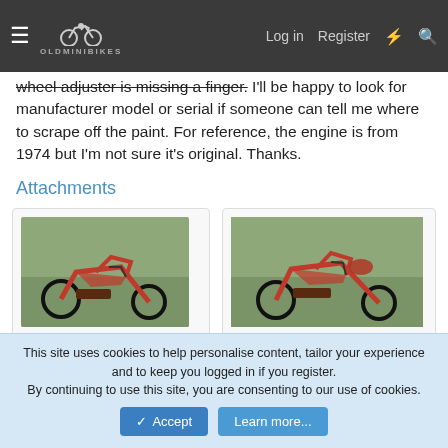OldMiniBikes — Log in | Register
wheel adjuster is missing a finger. I'll be happy to look for manufacturer model or serial if someone can tell me where to scrape off the paint. For reference, the engine is from 1974 but I'm not sure it's original. Thanks.
Attachments
[Figure (photo): Mini bike / go-kart red frame, front view on grass, attachment photo 1]
20210728_184527.jpg
201.7 KB    Views: 67
[Figure (photo): Mini bike / go-kart red frame, side/rear view on grass, attachment photo 2]
20210728_184537.jpg
183.8 KB    Views: 70
[Figure (photo): Mini bike red frame, partial view, attachment photo 3]
This site uses cookies to help personalise content, tailor your experience and to keep you logged in if you register.
By continuing to use this site, you are consenting to our use of cookies.